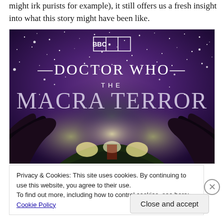might irk purists for example), it still offers us a fresh insight into what this story might have been like.
[Figure (illustration): BBC Doctor Who: The Macra Terror promotional artwork showing the title logo against a starry purple night sky with large crab claws silhouetted at the bottom and glowing lights in the background.]
Privacy & Cookies: This site uses cookies. By continuing to use this website, you agree to their use.
To find out more, including how to control cookies, see here: Cookie Policy
Close and accept